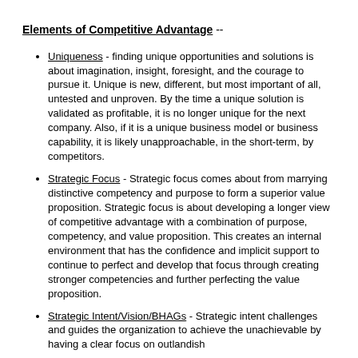Elements of Competitive Advantage --
Uniqueness - finding unique opportunities and solutions is about imagination, insight, foresight, and the courage to pursue it. Unique is new, different, but most important of all, untested and unproven. By the time a unique solution is validated as profitable, it is no longer unique for the next company. Also, if it is a unique business model or business capability, it is likely unapproachable, in the short-term, by competitors.
Strategic Focus - Strategic focus comes about from marrying distinctive competency and purpose to form a superior value proposition. Strategic focus is about developing a longer view of competitive advantage with a combination of purpose, competency, and value proposition. This creates an internal environment that has the confidence and implicit support to continue to perfect and develop that focus through creating stronger competencies and further perfecting the value proposition.
Strategic Intent/Vision/BHAGs - Strategic intent challenges and guides the organization to achieve the unachievable by having a clear focus on outlandish